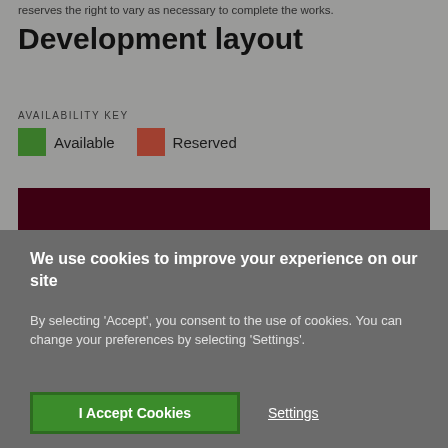reserves the right to vary as necessary to complete the works.
Development layout
AVAILABILITY KEY
Available   Reserved
[Figure (infographic): Dark red/maroon horizontal bar representing a development layout map area]
We use cookies to improve your experience on our site
By selecting 'Accept', you consent to the use of cookies. You can change your preferences by selecting 'Settings'.
I Accept Cookies
Settings